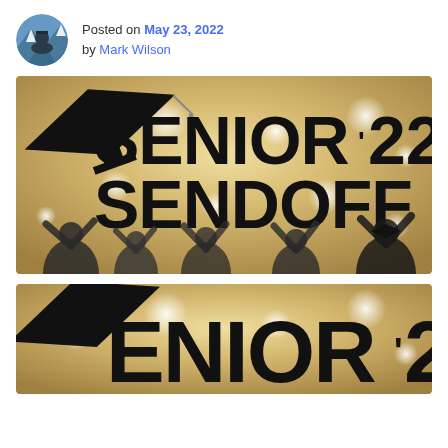Posted on May 23, 2022 by Mark Wilson
[Figure (illustration): Graduation celebration banner reading SENIOR'22 SENDOFF with silhouettes of graduates cheering, gold bokeh background]
[Figure (illustration): Partial view of same graduation banner showing SENIOR'22 text with graduation cap silhouette, gold bokeh background]